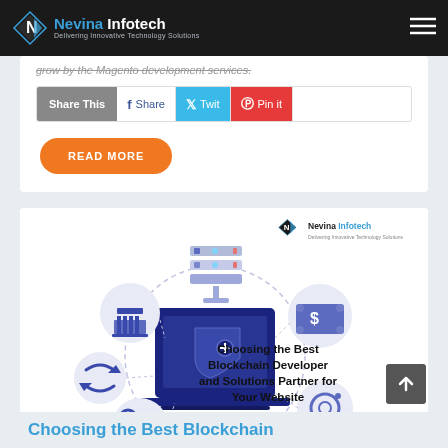Nevina Infotech — Delivering Innovative Technology Solutions
grow by the Magento development services.
Share This | Share | Twit | Pin it
READ MORE
[Figure (illustration): Blockchain technology infographic showing a laptop with a shield/lock icon surrounded by icons for bank, money, key, document, camera, and refresh arrows in a dashed circle. Nevina Infotech watermark in top right. Date badge showing 12 DEC 20 in bottom left.]
Choosing the Best Blockchain Developer and Solutions Partner for Your Website
Choosing the Best Blockchain